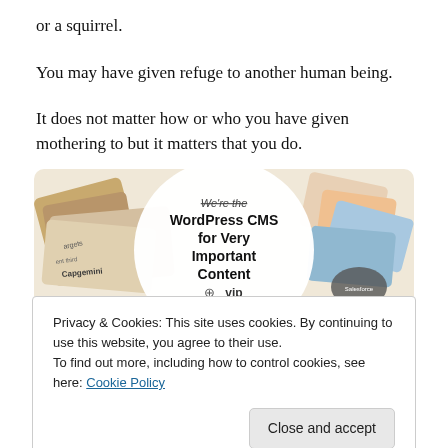or a squirrel.
You may have given refuge to another human being.
It does not matter how or who you have given mothering to but it matters that you do.
[Figure (illustration): WordPress VIP advertisement banner showing cards/logos and text: "We're the WordPress CMS for Very Important Content" with WordPress VIP logo and a Learn more button]
Privacy & Cookies: This site uses cookies. By continuing to use this website, you agree to their use.
To find out more, including how to control cookies, see here: Cookie Policy
Close and accept